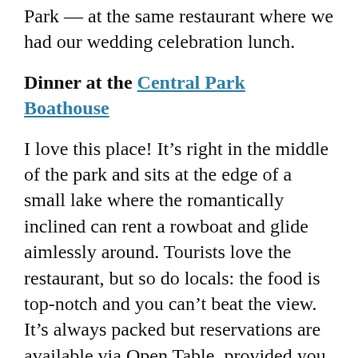Park — at the same restaurant where we had our wedding celebration lunch.
Dinner at the Central Park Boathouse
I love this place! It's right in the middle of the park and sits at the edge of a small lake where the romantically inclined can rent a rowboat and glide aimlessly around. Tourists love the restaurant, but so do locals: the food is top-notch and you can't beat the view. It's always packed but reservations are available via Open Table, provided you book in advance.